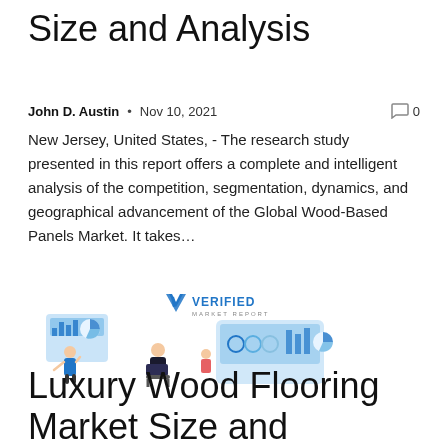Size and Analysis
John D. Austin  •  Nov 10, 2021    🗨 0
New Jersey, United States, - The research study presented in this report offers a complete and intelligent analysis of the competition, segmentation, dynamics, and geographical advancement of the Global Wood-Based Panels Market. It takes…
[Figure (illustration): Verified Market Report logo with illustration of two business people analyzing charts and graphs on screens]
Luxury Wood Flooring Market Size and Outlook 2028 | Main companies, Armstrong...